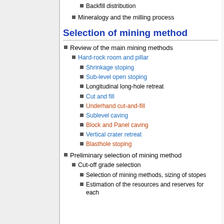Backfill distribution
Mineralogy and the milling process
Selection of mining method
Review of the main mining methods
Hard-rock room and pillar
Shrinkage stoping
Sub-level open stoping
Longitudinal long-hole retreat
Cut and fill
Underhand cut-and-fill
Sublevel caving
Block and Panel caving
Vertical crater retreat
Blasthole stoping
Preliminary selection of mining method
Cut-off grade selection
Selection of mining methods, sizing of stopes
Estimation of the resources and reserves for each